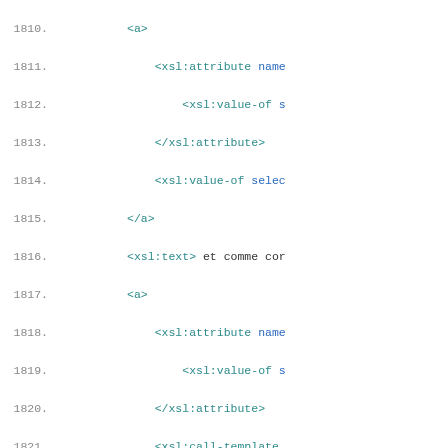Code listing lines 1810-1835, XSL template source code